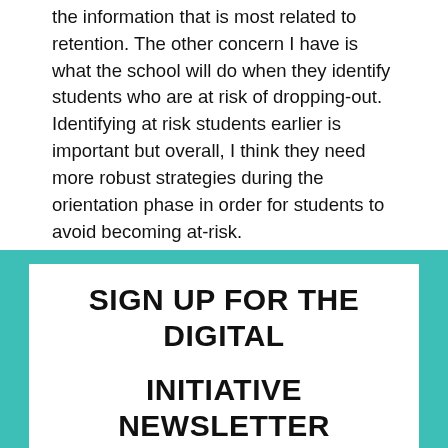the information that is most related to retention. The other concern I have is what the school will do when they identify students who are at risk of dropping-out. Identifying at risk students earlier is important but overall, I think they need more robust strategies during the orientation phase in order for students to avoid becoming at-risk.
SIGN UP FOR THE DIGITAL INITIATIVE NEWSLETTER